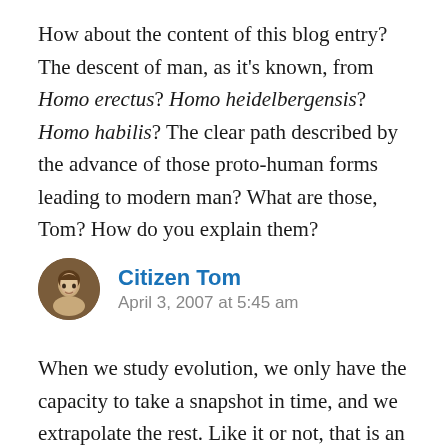How about the content of this blog entry? The descent of man, as it's known, from Homo erectus? Homo heidelbergensis? Homo habilis? The clear path described by the advance of those proto-human forms leading to modern man? What are those, Tom? How do you explain them?
Citizen Tom
April 3, 2007 at 5:45 am
When we study evolution, we only have the capacity to take a snapshot in time, and we extrapolate the rest. Like it or not, that is an